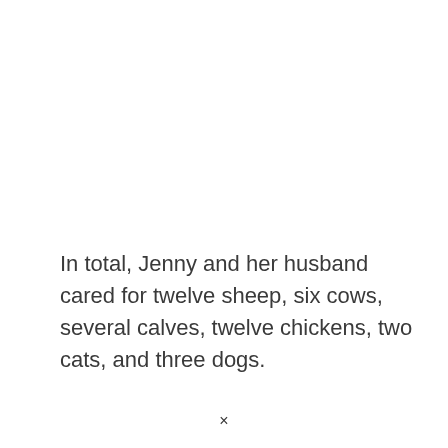In total, Jenny and her husband cared for twelve sheep, six cows, several calves, twelve chickens, two cats, and three dogs.
×